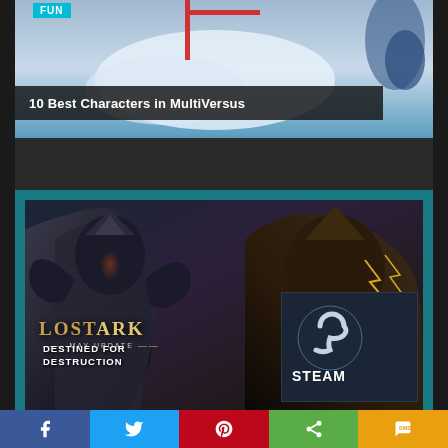[Figure (screenshot): Top banner image for '10 Best Characters in MultiVersus' article with colorful game characters on blue/white background and FUN category badge]
10 Best Characters in MultiVersus
[Figure (screenshot): Lost Ark May Update 'Destined for Destruction' promotional image showing dark armored characters, Lost Ark logo, and a Steam gift card]
Facebook share | Twitter share | Pinterest share | Share | SMS